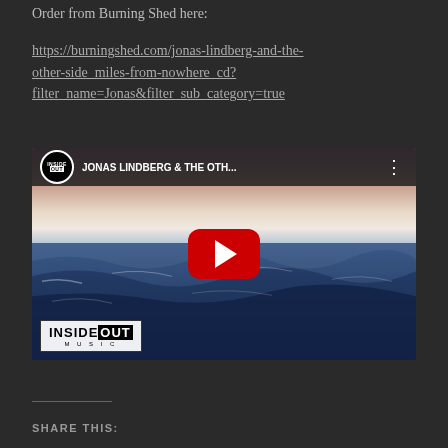Order from Burning Shed here:
https://burningshed.com/jonas-lindberg-and-the-other-side_miles-from-nowhere_cd?filter_name=Jonas&filter_sub_category=true
[Figure (screenshot): YouTube video thumbnail showing Jonas Lindberg & The Oth... with Inside Out Music channel icon, ocean background with purple/orange sky, and YouTube play button overlay. InsideOut Music logo in bottom left corner.]
SHARE THIS: